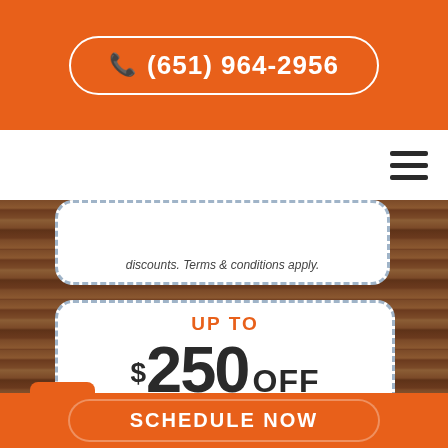(651) 964-2956
[Figure (infographic): Hamburger menu icon (three horizontal lines) in navigation bar]
discounts. Terms & conditions apply.
[Figure (infographic): Coupon offering UP TO $250 OFF INSTANT REBATE ON REPLACEMENT WATER HEATER on a wood background]
SCHEDULE NOW